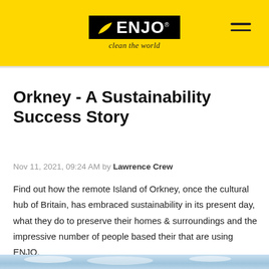ENJO — clean the world
Orkney - A Sustainability Success Story
Nov 11, 2021, 09:24 AM by Lawrence Crew
Find out how the remote Island of Orkney, once the cultural hub of Britain, has embraced sustainability in its present day, what they do to preserve their homes & surroundings and the impressive number of people based their that are using ENJO.
[Figure (photo): Bottom strip showing sky/landscape photo of Orkney]